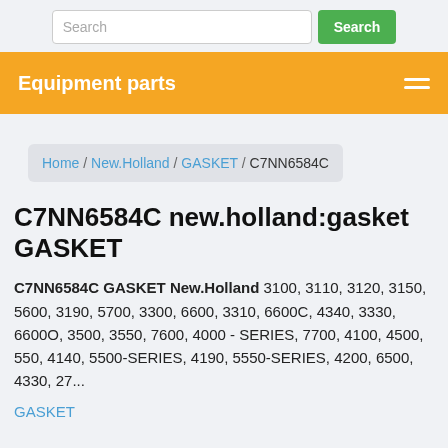Search | Search button
Equipment parts
Home / New.Holland / GASKET / C7NN6584C
C7NN6584C new.holland:gasket GASKET
C7NN6584C GASKET New.Holland 3100, 3110, 3120, 3150, 5600, 3190, 5700, 3300, 6600, 3310, 6600C, 4340, 3330, 6600O, 3500, 3550, 7600, 4000 - SERIES, 7700, 4100, 4500, 550, 4140, 5500-SERIES, 4190, 5550-SERIES, 4200, 6500, 4330, 27...
GASKET